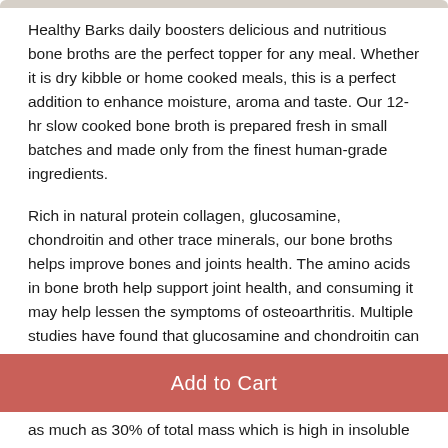Healthy Barks daily boosters delicious and nutritious bone broths are the perfect topper for any meal. Whether it is dry kibble or home cooked meals, this is a perfect addition to enhance moisture, aroma and taste. Our 12-hr slow cooked bone broth is prepared fresh in small batches and made only from the finest human-grade ingredients.
Rich in natural protein collagen, glucosamine, chondroitin and other trace minerals, our bone broths helps improve bones and joints health. The amino acids in bone broth help support joint health, and consuming it may help lessen the symptoms of osteoarthritis. Multiple studies have found that glucosamine and chondroitin can help decrease joint pain and lessen the symptoms of osteoarthritis.
Our products are cooked in a human grade kitchen
as much as 30% of total mass which is high in insoluble